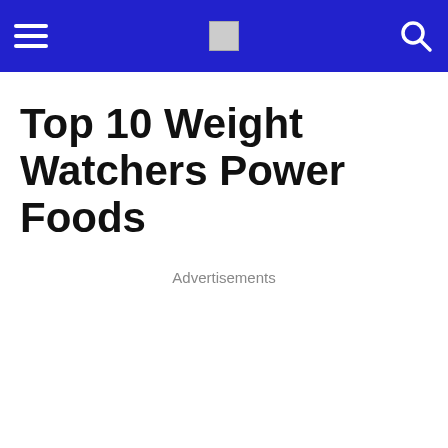Top 10 Weight Watchers Power Foods
Top 10 Weight Watchers Power Foods
Advertisements